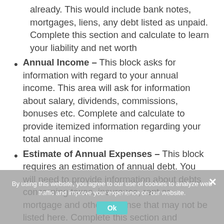already. This would include bank notes, mortgages, liens, any debt listed as unpaid. Complete this section and calculate to learn your liability and net worth
Annual Income – This block asks for information with regard to your annual income. This area will ask for information about salary, dividends, commissions, bonuses etc. Complete and calculate to provide itemized information regarding your total annual income
Estimate of Annual Expenses – This block requires an estimation of annual debt. You will need to provide information about debts concerning taxes, insurance, rent or mortgage and other expense that may not be listed here. Complete this section and calculate to provide information about your